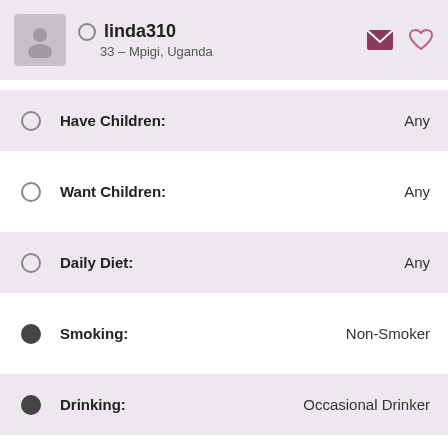linda310 — 33 – Mpigi, Uganda
Have Children: Any
Want Children: Any
Daily Diet: Any
Smoking: Non-Smoker
Drinking: Occasional Drinker
Education: Any
Occupation: Any